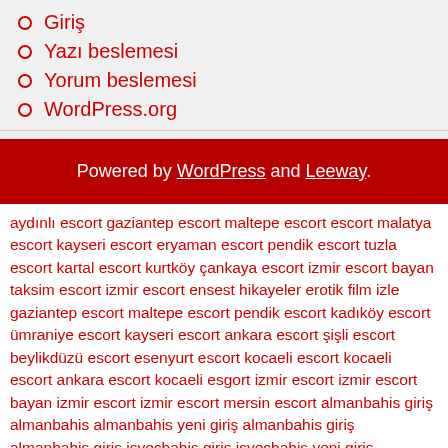Giriş
Yazı beslemesi
Yorum beslemesi
WordPress.org
Powered by WordPress and Leeway.
aydınlı escort gaziantep escort maltepe escort escort malatya escort kayseri escort eryaman escort pendik escort tuzla escort kartal escort kurtköy çankaya escort izmir escort bayan taksim escort izmir escort ensest hikayeler erotik film izle gaziantep escort maltepe escort pendik escort kadıköy escort ümraniye escort kayseri escort ankara escort şişli escort beylikdüzü escort esenyurt escort kocaeli escort kocaeli escort ankara escort kocaeli esgort izmir escort izmir escort bayan izmir escort izmir escort mersin escort almanbahis giriş almanbahis almanbahis yeni giriş almanbahis giriş almanbahis giriş isveçbahis giriş isveçbahis yeni giriş isveçbahis isveçbahis giriş isveçbahis yeni giriş sincan escort kızılay escort rus escort bahis siteleri bahis siteleri canlı bahis bahis siteleri bahis siteleri canlı bahisbursa escort bursa escort
34